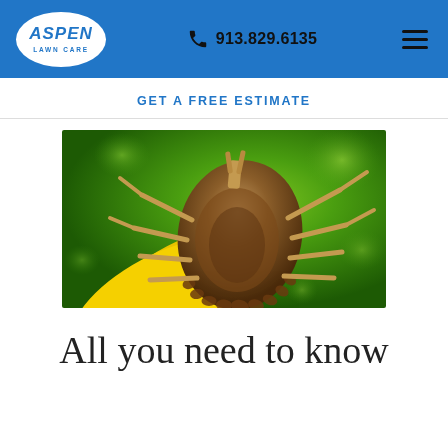Aspen Lawn Care — 913.829.6135
GET A FREE ESTIMATE
[Figure (photo): Close-up macro photograph of a tick (arachnid) clinging to a yellow surface against a blurred green bokeh background. The tick's brown oval body with scalloped edges is prominently displayed along with its legs and mouthparts.]
All you need to know